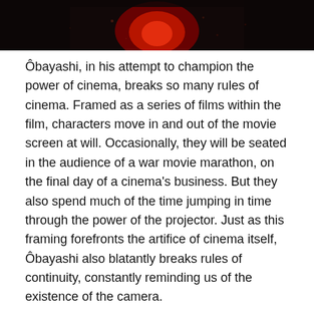[Figure (photo): Dark cinematic still image with a red glowing shape in the center against a dark background, cropped at top of page.]
Ôbayashi, in his attempt to champion the power of cinema, breaks so many rules of cinema. Framed as a series of films within the film, characters move in and out of the movie screen at will. Occasionally, they will be seated in the audience of a war movie marathon, on the final day of a cinema's business. But they also spend much of the time jumping in time through the power of the projector. Just as this framing forefronts the artifice of cinema itself, Ôbayashi also blatantly breaks rules of continuity, constantly reminding us of the existence of the camera.
By breaking all the rules, Ôbayashi frees himself to tell whatever story he wants to tell at any point in the film. He liberally moves his characters through time, ignoring any